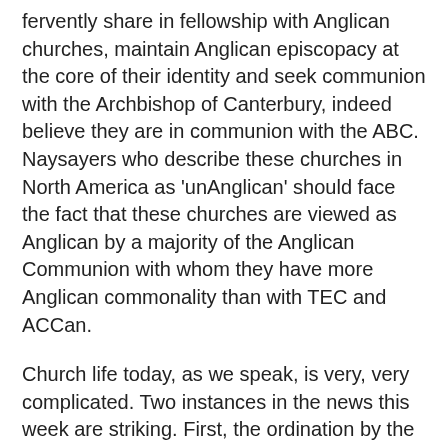fervently share in fellowship with Anglican churches, maintain Anglican episcopacy at the core of their identity and seek communion with the Archbishop of Canterbury, indeed believe they are in communion with the ABC. Naysayers who describe these churches in North America as 'unAnglican' should face the fact that these churches are viewed as Anglican by a majority of the Anglican Communion with whom they have more Anglican commonality than with TEC and ACCan.
Church life today, as we speak, is very, very complicated. Two instances in the news this week are striking. First, the ordination by the Kenyan church of a clergyman to work in a church plant in Sheffield which is, well, you work it out, but I describe it as an Anglican plant which is not Anglican. Who would be the Bishop of Sheffield?
Then the sad, sorry, spectacular saga of Cardinal O' Brien, leading British spokesperson against gay marriage in the UK, resigning and thus barring himself from attending the papal electoral conclave: if the charges against him are true then he arguably deserves to be regarded as the worst kind